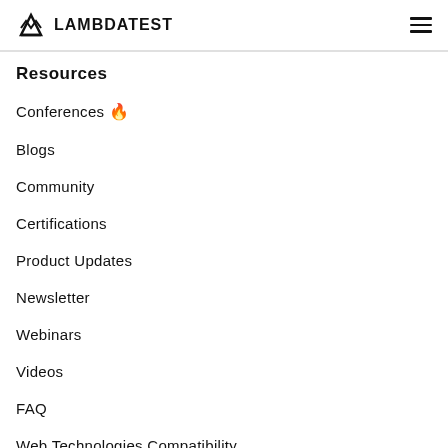LAMBDATEST
Resources
Conferences 🔥
Blogs
Community
Certifications
Product Updates
Newsletter
Webinars
Videos
FAQ
Web Technologies Compatibility
Automation Testing Advisor